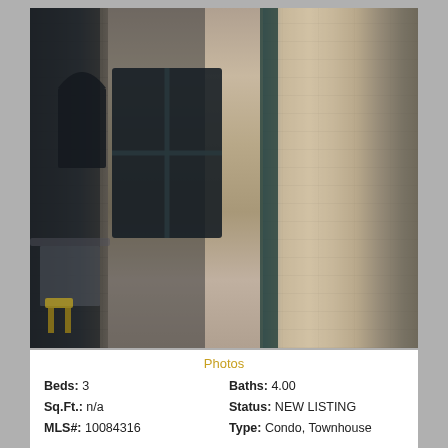[Figure (photo): Exterior brick wall of a townhouse/condo with arched and rectangular windows on the left, transitioning to an interior view of an open-plan living/kitchen area on the right. Outdoor patio furniture visible on the left side.]
Photos
Beds: 3   Baths: 4.00
Sq.Ft.: n/a   Status: NEW LISTING
MLS#: 10084316   Type: Condo, Townhouse